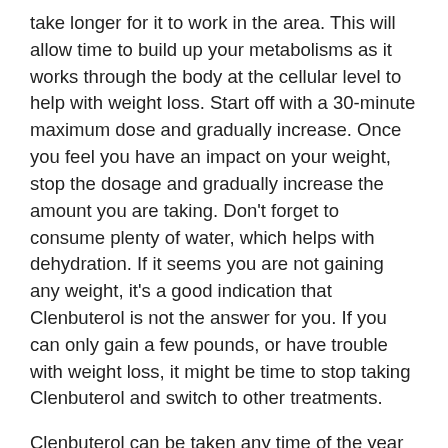take longer for it to work in the area. This will allow time to build up your metabolisms as it works through the body at the cellular level to help with weight loss. Start off with a 30-minute maximum dose and gradually increase. Once you feel you have an impact on your weight, stop the dosage and gradually increase the amount you are taking. Don't forget to consume plenty of water, which helps with dehydration. If it seems you are not gaining any weight, it's a good indication that Clenbuterol is not the answer for you. If you can only gain a few pounds, or have trouble with weight loss, it might be time to stop taking Clenbuterol and switch to other treatments.
Clenbuterol can be taken any time of the year with or without an active thyroid medication. During winter months, take it after you have shaved and brushed your